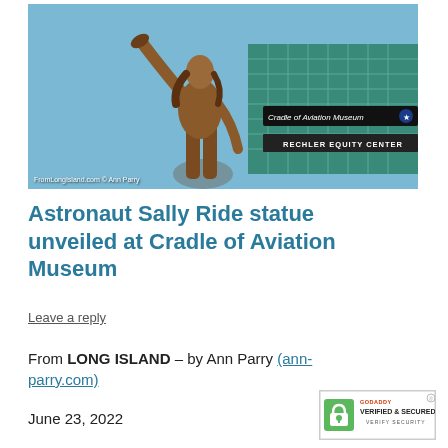[Figure (photo): Bronze statue of astronaut Sally Ride with arm raised, holding a helmet/cap, in front of the Cradle of Aviation Museum / Rechler Equity Center building. Clear blue sky. Photo credit: FromLongIsland.com © Ann Parry]
Astronaut Sally Ride statue unveiled at Cradle of Aviation Museum
Leave a reply
From LONG ISLAND – by Ann Parry (ann-parry.com)
June 23, 2022
[Figure (logo): GoDaddy Verified & Secured badge with lock icon]